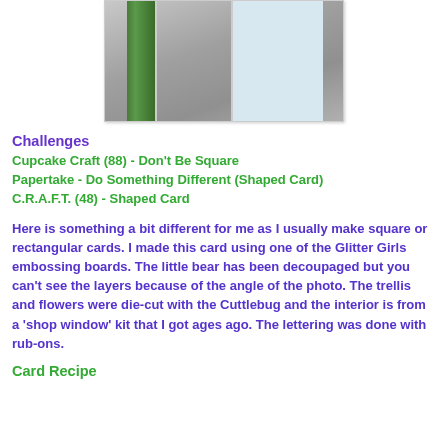[Figure (photo): Photo of a shaped craft card, showing a 3D view with green patterned side, striped layers, and light blue interior with bear decoration, photographed at an angle on a gray surface]
Challenges
Cupcake Craft (88) - Don't Be Square
Papertake - Do Something Different (Shaped Card)
C.R.A.F.T. (48) - Shaped Card
Here is something a bit different for me as I usually make square or rectangular cards. I made this card using one of the Glitter Girls embossing boards. The little bear has been decoupaged but you can't see the layers because of the angle of the photo. The trellis and flowers were die-cut with the Cuttlebug and the interior is from a 'shop window' kit that I got ages ago. The lettering was done with rub-ons.
Card Recipe